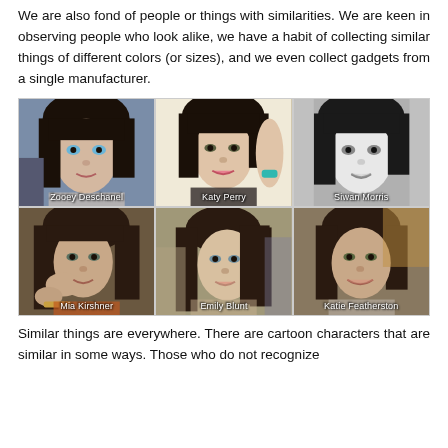We are also fond of people or things with similarities. We are keen in observing people who look alike, we have a habit of collecting similar things of different colors (or sizes), and we even collect gadgets from a single manufacturer.
[Figure (photo): A 2x3 grid of celebrity photos showing look-alikes: Zooey Deschanel, Katy Perry, Siwan Morris (top row), Mia Kirshner, Emily Blunt, Katie Featherston (bottom row). All six women have dark hair and similar facial features.]
Similar things are everywhere. There are cartoon characters that are similar in some ways. Those who do not recognize